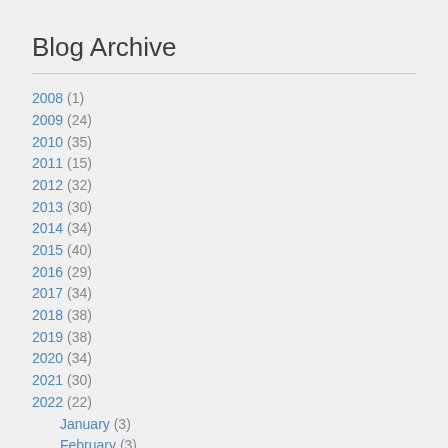Blog Archive
2008 (1)
2009 (24)
2010 (35)
2011 (15)
2012 (32)
2013 (30)
2014 (34)
2015 (40)
2016 (29)
2017 (34)
2018 (38)
2019 (38)
2020 (34)
2021 (30)
2022 (22)
January (3)
February (3)
March (4)
April (2)